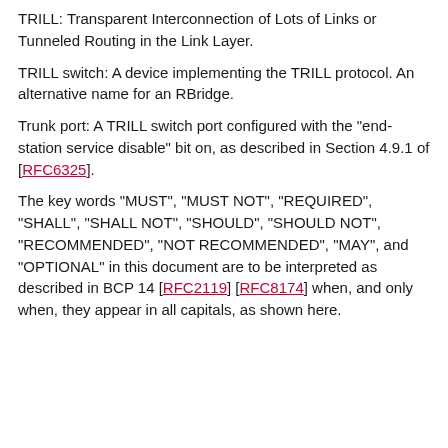TRILL: Transparent Interconnection of Lots of Links or Tunneled Routing in the Link Layer.
TRILL switch: A device implementing the TRILL protocol. An alternative name for an RBridge.
Trunk port: A TRILL switch port configured with the "end-station service disable" bit on, as described in Section 4.9.1 of [RFC6325].
The key words "MUST", "MUST NOT", "REQUIRED", "SHALL", "SHALL NOT", "SHOULD", "SHOULD NOT", "RECOMMENDED", "NOT RECOMMENDED", "MAY", and "OPTIONAL" in this document are to be interpreted as described in BCP 14 [RFC2119] [RFC8174] when, and only when, they appear in all capitals, as shown here.